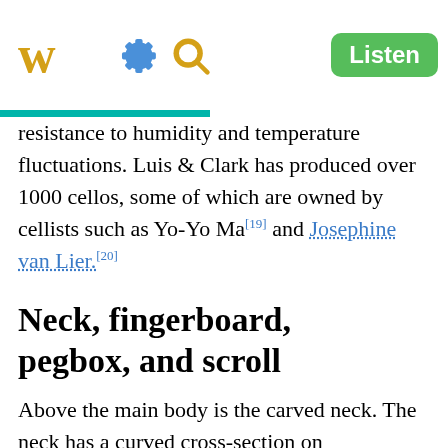W [gear icon] [search icon] Listen
resistance to humidity and temperature fluctuations. Luis & Clark has produced over 1000 cellos, some of which are owned by cellists such as Yo-Yo Ma[19] and Josephine van Lier.[20]
Neck, fingerboard, pegbox, and scroll
Above the main body is the carved neck. The neck has a curved cross-section on